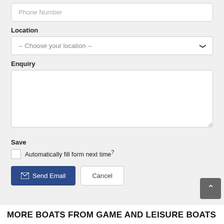Phone Number
Location
-- Choose your location --
Enquiry
Save
Automatically fill form next time?
Send Email
Cancel
MORE BOATS FROM GAME AND LEISURE BOATS